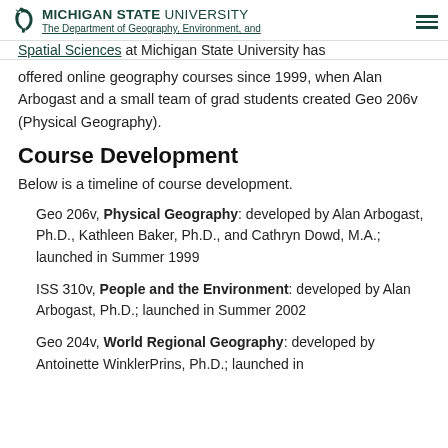MICHIGAN STATE UNIVERSITY — The Department of Geography, Environment, and Spatial Sciences
The Department of Geography, Environment, and Spatial Sciences at Michigan State University has offered online geography courses since 1999, when Alan Arbogast and a small team of grad students created Geo 206v (Physical Geography).
Course Development
Below is a timeline of course development.
Geo 206v, Physical Geography: developed by Alan Arbogast, Ph.D., Kathleen Baker, Ph.D., and Cathryn Dowd, M.A.; launched in Summer 1999
ISS 310v, People and the Environment: developed by Alan Arbogast, Ph.D.; launched in Summer 2002
Geo 204v, World Regional Geography: developed by Antoinette WinklerPrins, Ph.D.; launched in